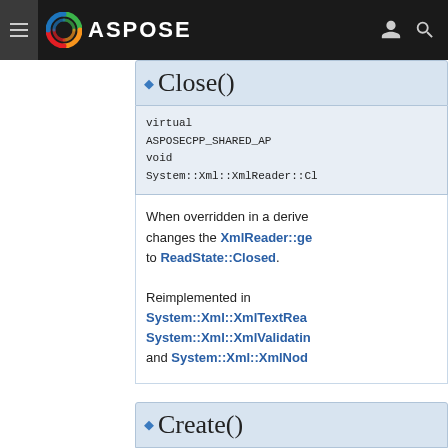ASPOSE
◆ Close()
virtual ASPOSECPP_SHARED_AP void System::Xml::XmlReader::Cl
When overridden in a derived class, changes the XmlReader::ge to ReadState::Closed. Reimplemented in System::Xml::XmlTextRea System::Xml::XmlValidatin and System::Xml::XmlNod
◆ Create()